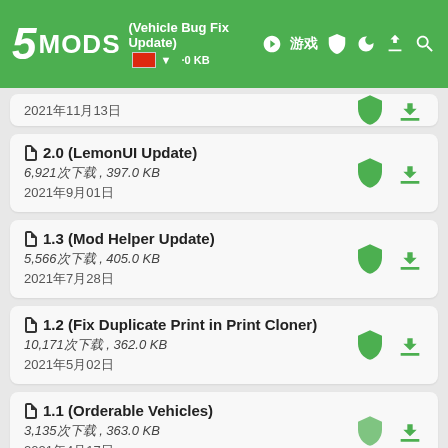5MODS (Vehicle Bug Fix Update)
2.0 (LemonUI Update)
6,921次下载 , 397.0 KB
2021年9月01日
1.3 (Mod Helper Update)
5,566次下载 , 405.0 KB
2021年7月28日
1.2 (Fix Duplicate Print in Print Cloner)
10,171次下载 , 362.0 KB
2021年5月02日
1.1 (Orderable Vehicles)
3,135次下载 , 363.0 KB
2021年4月17日
1.0.5